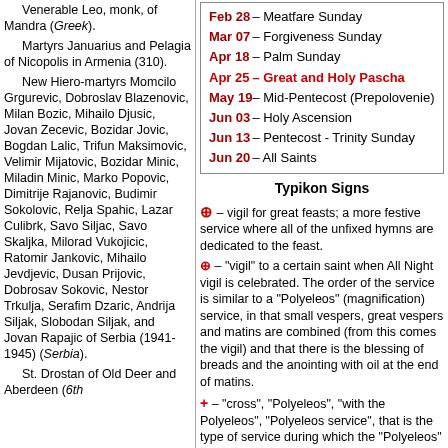Venerable Leo, monk, of Mandra (Greek). Martyrs Januarius and Pelagia of Nicopolis in Armenia (310). New Hiero-martyrs Momcilo Grgurevic, Dobroslav Blazenovic, Milan Bozic, Mihailo Djusic, Jovan Zecevic, Bozidar Jovic, Bogdan Lalic, Trifun Maksimovic, Velimir Mijatovic, Bozidar Minic, Miladin Minic, Marko Popovic, Dimitrije Rajanovic, Budimir Sokolovic, Relja Spahic, Lazar Culibrk, Savo Siljac, Savo Skaljka, Milorad Vukojicic, Ratomir Jankovic, Mihailo Jevdjevic, Dusan Prijovic, Dobrosav Sokovic, Nestor Trkulja, Serafim Dzaric, Andrija Siljak, Slobodan Siljak, and Jovan Rapajic of Serbia (1941-1945) (Serbia). St. Drostan of Old Deer and Aberdeen (6th
| Date | Event |
| --- | --- |
| Feb 28 | Meatfare Sunday |
| Mar 07 | Forgiveness Sunday |
| Apr 18 | Palm Sunday |
| Apr 25 | Great and Holy Pascha |
| May 19 | Mid-Pentecost (Prepolovenie) |
| Jun 03 | Holy Ascension |
| Jun 13 | Pentecost - Trinity Sunday |
| Jun 20 | All Saints |
Typikon Signs
⊕ – vigil for great feasts; a more festive service where all of the unfixed hymns are dedicated to the feast.
⊕ – "vigil" to a certain saint when All Night vigil is celebrated. The order of the service is similar to a "Polyeleos" (magnification) service, in that small vespers, great vespers and matins are combined (from this comes the vigil) and that there is the blessing of breads and the anointing with oil at the end of matins.
+ – "cross", "Polyeleos", "with the Polyeleos", "Polyeleos service", that is the type of service during which the "Polyeleos" (Praise/Magnification) is sung during matins (the majestic singing of the 134 and 135 psalms with verses); in addition, during this service there is a reading from the Gospel, the prokeimenon, gradual antiphons, the canon with 8 troparions, the praises and Great Doxology are sung, and during vespers "Blessed is the man" is sung (first "Glane" of the 1st kathisma), there is an